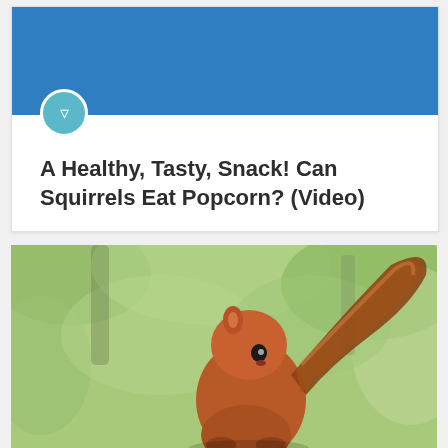A Healthy, Tasty, Snack! Can Squirrels Eat Popcorn? (Video)
[Figure (photo): Close-up photo of a red squirrel with a bushy tail, set against a blurred green foliage background]